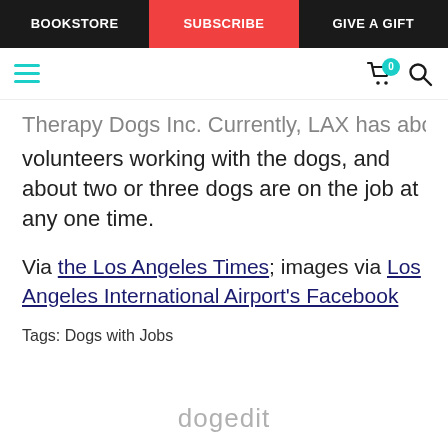BOOKSTORE | SUBSCRIBE | GIVE A GIFT
Therapy Dogs Inc. Currently, LAX has about 30 volunteers working with the dogs, and about two or three dogs are on the job at any one time.
Via the Los Angeles Times; images via Los Angeles International Airport's Facebook
Tags: Dogs with Jobs
dogedit